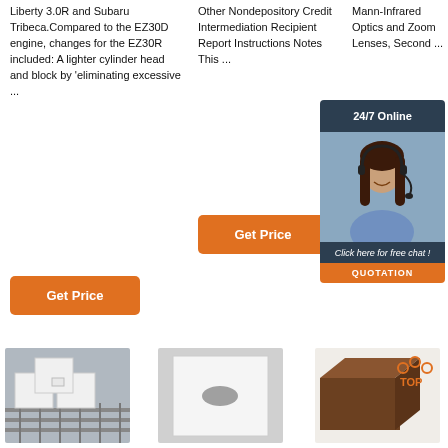Liberty 3.0R and Subaru Tribeca.Compared to the EZ30D engine, changes for the EZ30R included: A lighter cylinder head and block by 'eliminating excessive ...
Other Nondepository Credit Intermediation Recipient Report Instructions Notes This ...
Mann-Infrared Optics and Zoom Lenses, Second ...
[Figure (infographic): Chat widget with 24/7 Online label, photo of woman with headset, 'Click here for free chat!' text, orange Get button, and QUOTATION button]
[Figure (photo): White ceramic or refractory brick components on a rack/conveyor]
[Figure (photo): White square ceramic or foam block with oval cutout]
[Figure (infographic): Dark brown rectangular block with TOP logo overlay]